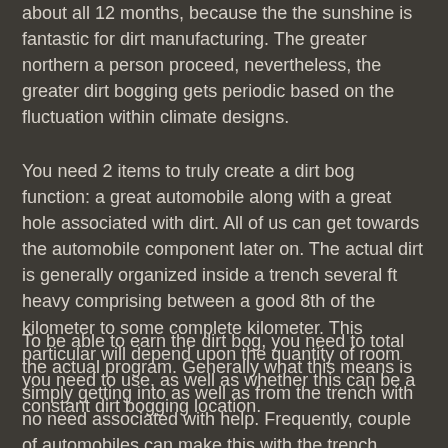about all 12 months, because the the sunshine is fantastic for dirt manufacturing. The greater northern a person proceed, nevertheless, the greater dirt bogging gets periodic based on the fluctuation within climate designs.
You need 2 items to truly create a dirt bog function: a great automobile along with a great hole associated with dirt. All of us can get towards the automobile component later on. The actual dirt is generally organized inside a trench several ft heavy comprising between a good 8th of the kilometer to some complete kilometer. This particular will depend upon the quantity of room you need to use, as well as whether this can be a constant dirt bogging location.
To be able to earn the dirt bog, you need to total the actual program. Generally what this means is simply getting into as well as from the trench with no need associated with help. Frequently, couple of automobiles can make this with the trench, therefore it's not hard to figure out the actual champion if perhaps 1 pickup truck views another aspect. If you're trapped, you're drawn in the operating. Except if nobody causes it to be towards the additional aspect, meaning the actual champion is actually that causes it to be the actual furthermost within the trench. In the event that several pickup truck causes it to be towards the additional aspect without having help, the actual champion is dependent upon that do